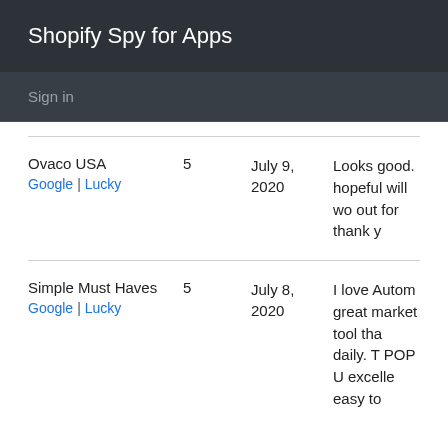Shopify Spy for Apps
Sign in
| Store | Rating | Date | Review |
| --- | --- | --- | --- |
| Ovaco USA
Google | Lucky | 5 | July 9, 2020 | Looks good. hopeful will wo out for thank y |
| Simple Must Haves
Google | Lucky | 5 | July 8, 2020 | I love Autom great market tool tha daily. T POP U excelle easy to |